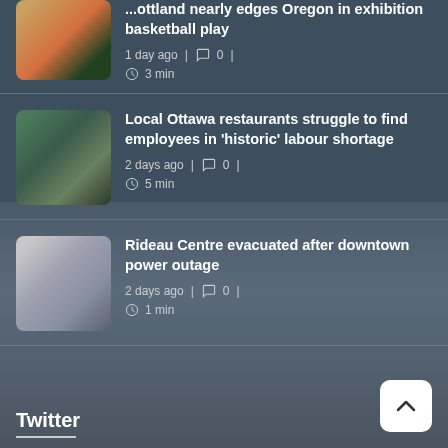[Figure (screenshot): Partial article thumbnail: basketball game]
...ottland nearly edges Oregon in exhibition basketball play
1 day ago | 💬 0 | ⏱ 3 min
[Figure (photo): Article thumbnail: Ottawa restaurant exterior]
Local Ottawa restaurants struggle to find employees in 'historic' labour shortage
2 days ago | 💬 0 | ⏱ 5 min
[Figure (photo): Article thumbnail: Rideau Centre interior]
Rideau Centre evacuated after downtown power outage
2 days ago | 💬 0 | ⏱ 1 min
Twitter